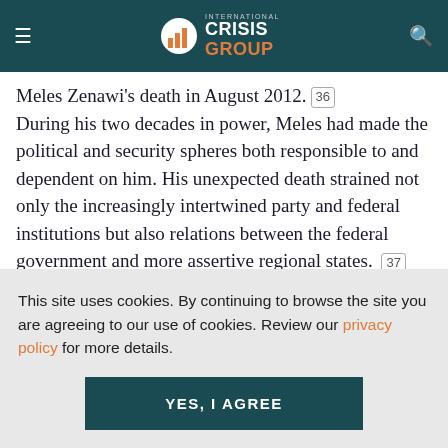International Crisis Group
Meles Zenawi's death in August 2012. During his two decades in power, Meles had made the political and security spheres both responsible to and dependent on him. His unexpected death strained not only the increasingly intertwined party and federal institutions but also relations between the federal government and more assertive regional states. [37] The party was unable to
This site uses cookies. By continuing to browse the site you are agreeing to our use of cookies. Review our privacy policy for more details.
YES, I AGREE